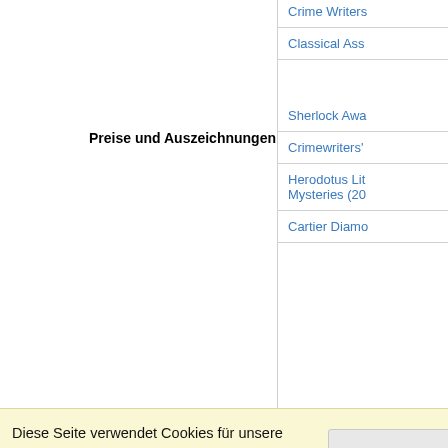Organisationen
Crime Writers
Classical Ass
Preise und Auszeichnungen
Sherlock Awa
Crimewriters'
Herodotus Lit Mysteries (20
Cartier Diamo
Diese Seite verwendet Cookies für unsere Dienste, zur Verbesserung unserer Leistungen, für Analytik und (falls Sie nicht eingeloggt sind) für Werbung. Indem Sie LibraryThing nutzen, erklären Sie dass Sie unsere Nutzungsbedingungen und Datenschutzrichtlinie gelesen und verstanden haben. Die Nutzung unserer Webseite und Dienste unterliegt diesen Richtlinien und Geschäftsbedingungen.
Ich stimme zu